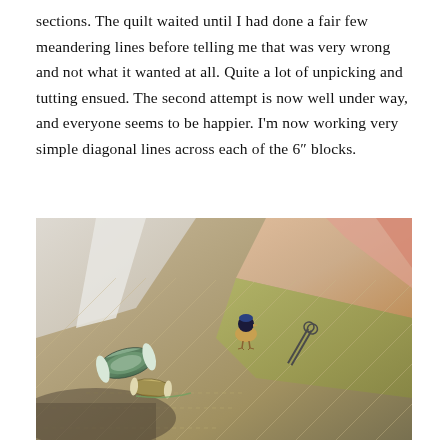sections. The quilt waited until I had done a fair few meandering lines before telling me that was very wrong and not what it wanted at all. Quite a lot of unpicking and tutting ensued. The second attempt is now well under way, and everyone seems to be happier. I'm now working very simple diagonal lines across each of the 6" blocks.
[Figure (photo): A close-up photograph of a quilt laid on a surface, showing diagonal quilting stitches across neutral-toned fabric blocks. On the quilt are two spools of green thread, a small decorative bird figurine with a blue pincushion on its back, and a pair of scissors. The quilt has varied fabric textures and colors including beige, green, pink, and orange.]